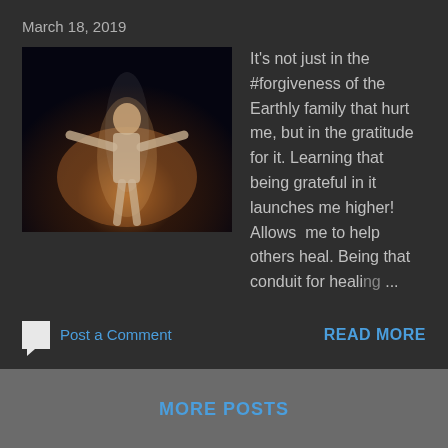March 18, 2019
[Figure (photo): Blurry photo of a person with arms outstretched against a dark background with warm orange/yellow lighting at bottom]
It's not just in the #forgiveness of the Earthly family that hurt me, but in the gratitude for it. Learning that being grateful in it launches me higher! Allows  me to help others heal. Being that conduit for healing ...
Post a Comment
READ MORE
MORE POSTS
Powered by Blogger
Theme images by Radius Images